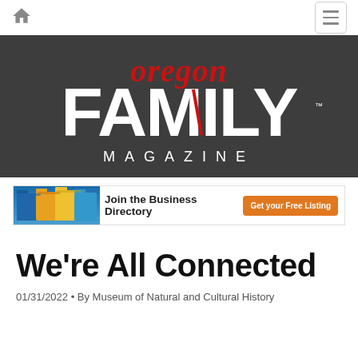[Figure (screenshot): Navigation bar with home icon on left and hamburger menu button on right]
[Figure (logo): Oregon Family Magazine logo — 'oregon' in red cursive script above large white bold 'FAMILY' text with 'MAGAZINE' in white uppercase spaced letters below, on dark gray background]
[Figure (screenshot): Advertisement banner: file folders image on left, 'Join the Business Directory' text in center, orange 'Get your Free Listing' button on right]
We’re All Connected
01/31/2022 • By Museum of Natural and Cultural History